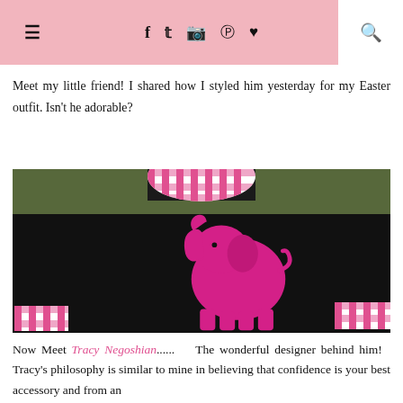≡  f  t  [instagram]  [pinterest]  [bloglovin]  [search]
Meet my little friend! I shared how I styled him yesterday for my Easter outfit. Isn't he adorable?
[Figure (photo): Photo of a woman wearing a black sweatshirt with a bright pink elephant graphic on the front, with pink and white gingham check collar and cuffs visible.]
Now Meet Tracy Negoshian....... The wonderful designer behind him! Tracy's philosophy is similar to mine in believing that confidence is your best accessory and from an